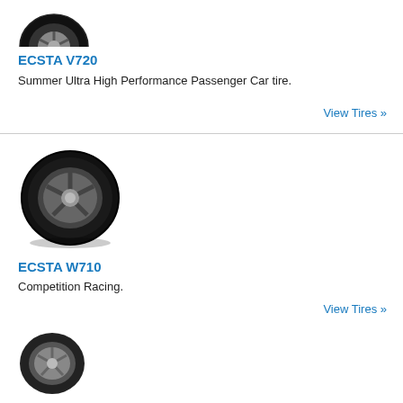[Figure (photo): Top portion of a black performance car tire with alloy wheel rim, cropped at top]
ECSTA V720
Summer Ultra High Performance Passenger Car tire.
View Tires »
[Figure (photo): Black competition racing tire with alloy wheel rim, side view]
ECSTA W710
Competition Racing.
View Tires »
[Figure (photo): Partial view of a tire at bottom of page]
[Figure (logo): Top Rated Ecommerce advertisement banner with X close button and logo showing winged emblem]